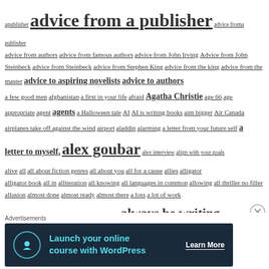apublisher advice from a publisher advice froma publisher advice from authors advice from famous authors advice from John Irving Advice from John Steinbeck advice from Steinbeck advice from Stephen King advice from the king advice from the master advice to aspiring novelists advice to authors a few good men afghanistan a first in your life afraid Agatha Christie age 66 age appropriate agent agents a Halloween tale AI AI is writing books aim bigger Air Canada airplanes take off against the wind airport aladdin alarming a letter from your future self a letter to myself. alex goubar alex interview align with your goals alive all all about fiction genres all about you all for a cause allies alligator alligator book all in alliteration all knowing all languages in common allowing all thriller no filler allusion almost done almost ready almost there a loss a lot of work alter ego alter egos Alvin Irby always be prepared always be writing always bring a spare pen always continue your education always learning a man of talent is not born to be left to himself amazing amazing facts amazon amazon number 1 amazon reviews America's public schools american publisher am i writing about you amusement park amusement park for writers analysis analyst
[Figure (other): Advertisement banner: Launch your online course with WordPress - Learn More]